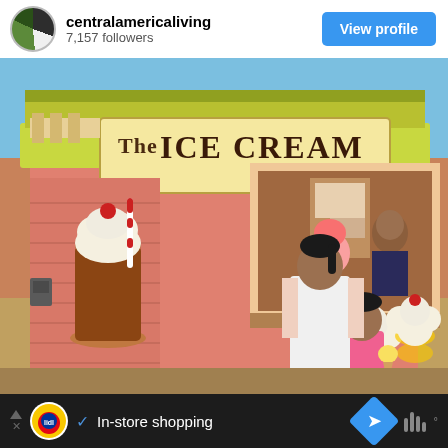centralamericaliving — 7,157 followers — View profile
[Figure (photo): Photo of a colorful pink ice cream bar/shop with a large wooden sign reading 'The ICE CREAM Bar', murals of ice cream sundaes painted on the walls. A girl stands at the counter and a younger child holds an ice cream cone.]
In-store shopping — Lidl advertisement